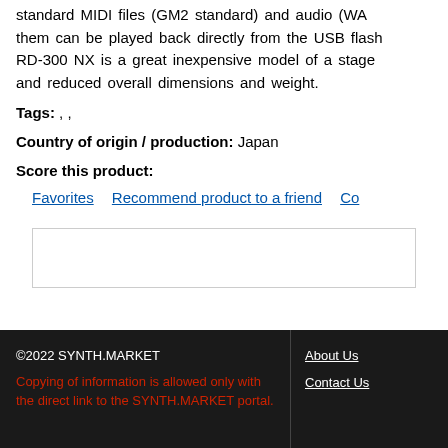AD-300 NX offers a USB port for flash memory, standard MIDI files (GM2 standard) and audio (WA...) them can be played back directly from the USB flash... RD-300 NX is a great inexpensive model of a stage... and reduced overall dimensions and weight.
Tags: , ,
Country of origin / production: Japan
Score this product:
Favorites   Recommend product to a friend   Co...
©2022 SYNTH.MARKET
Copying of information is allowed only with the direct link to the SYNTH.MARKET portal.
About Us
Contact Us